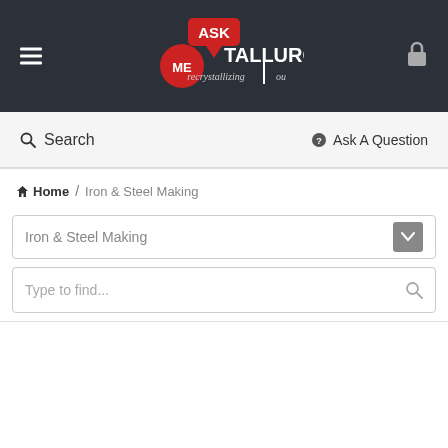[Figure (logo): Ask Metallurgy logo with red speech bubble, red circle with 'ME' text, 'TALLURGY' text, and tagline 'recrystallizing you']
Search
Ask A Question
Home / Iron & Steel Making
Iron & Steel Making
Type to find...